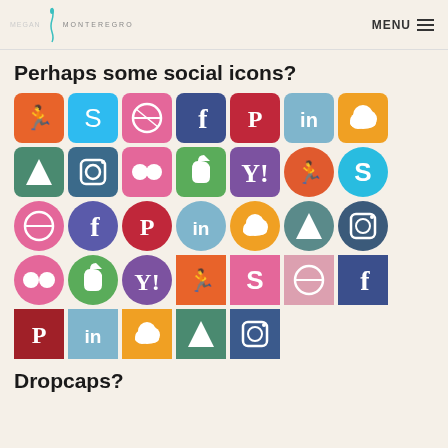MONTEREGRO | MENU
Perhaps some social icons?
[Figure (illustration): Grid of social media icons in rounded square and circle shapes with various colors including orange, blue, pink, purple, green, red, teal. Icons represent services like Skype, Dribbble, Facebook, Pinterest, LinkedIn, Instagram, Evernote, Yahoo, and others.]
Dropcaps?